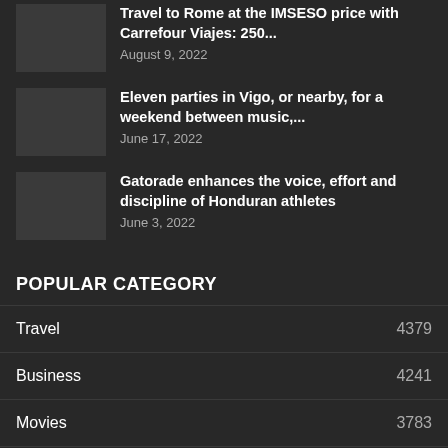Travel to Rome at the IMSESO price with Carrefour Viajes: 250...
August 9, 2022
Eleven parties in Vigo, or nearby, for a weekend between music,...
June 17, 2022
Gatorade enhances the voice, effort and discipline of Honduran athletes
June 3, 2022
POPULAR CATEGORY
Travel 4379
Business 4241
Movies 3783
Sports 3533